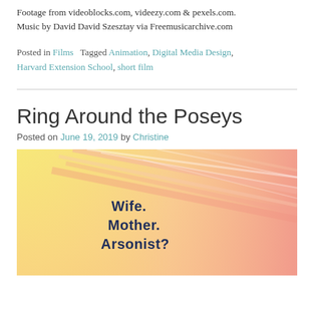Footage from videoblocks.com, videezy.com & pexels.com. Music by David David Szesztay via Freemusicarchive.com
Posted in Films   Tagged Animation, Digital Media Design, Harvard Extension School, short film
Ring Around the Poseys
Posted on June 19, 2019 by Christine
[Figure (photo): Movie poster/still with warm yellow-orange and pink blurred streaked background with dark blue bold text reading 'Wife. Mother. Arsonist?']